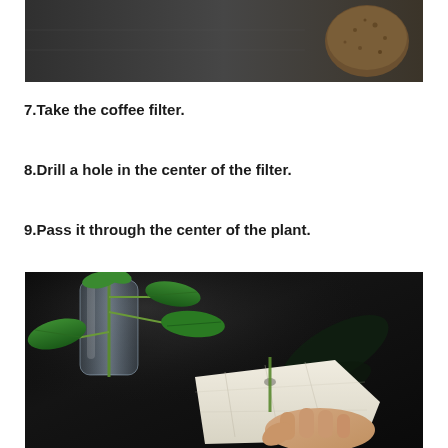[Figure (photo): Top portion of a photo showing a dark surface/tray with a soil-filled container or root ball on the right side]
7.Take the coffee filter.
8.Drill a hole in the center of the filter.
9.Pass it through the center of the plant.
[Figure (photo): Photo showing a green plant with leaves inserted through a plastic bottle, and a hand holding a white coffee filter underneath the plant stem, set against a dark background]